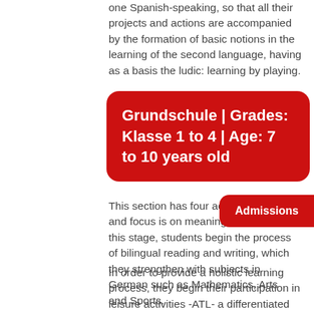one Spanish-speaking, so that all their projects and actions are accompanied by the formation of basic notions in the learning of the second language, having as a basis the ludic: learning by playing.
Grundschule | Grades: Klasse 1 to 4 | Age: 7 to 10 years old
This section has four academic grades and focus is on meaningful learning. At this stage, students begin the process of bilingual reading and writing, which they strengthen with subjects in German such as Mathematics, Arts and Sports.
Admissions
In order to provide a holistic learning process, they begin their participation in leisure activities -ATL- a differentiated offer of more than thirty options provided by our three schools: Music, Arts and Sports, where children develop and strengthen